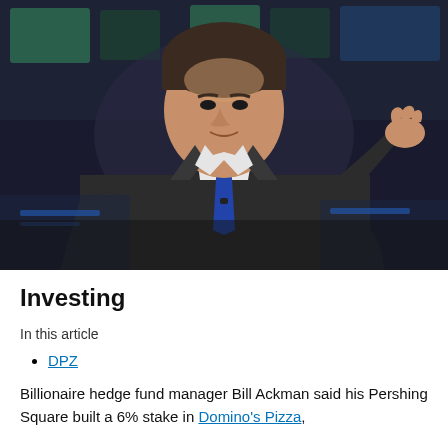[Figure (photo): A man in a dark suit and blue tie gesturing with his right hand, appearing to speak at a financial news event with blurred green and blue screens in the background.]
Investing
In this article
DPZ
Billionaire hedge fund manager Bill Ackman said his Pershing Square built a 6% stake in Domino's Pizza,